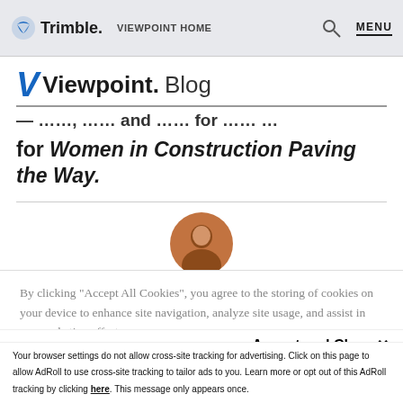Trimble. VIEWPOINT HOME  MENU
Viewpoint. Blog
for Women in Construction Paving the Way.
[Figure (photo): Circular avatar photo of a person, partially visible]
By clicking "Accept All Cookies", you agree to the storing of cookies on your device to enhance site navigation, analyze site usage, and assist in our marketing efforts.
Accept and Close ✕
Your browser settings do not allow cross-site tracking for advertising. Click on this page to allow AdRoll to use cross-site tracking to tailor ads to you. Learn more or opt out of this AdRoll tracking by clicking here. This message only appears once.